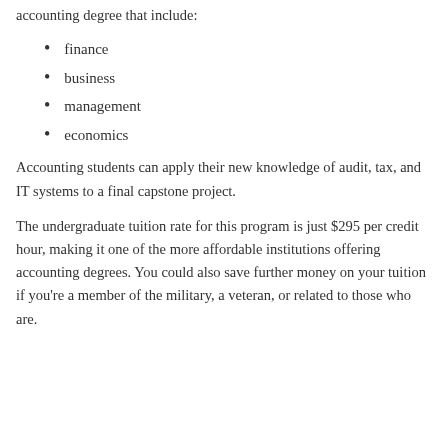accounting degree that include:
finance
business
management
economics
Accounting students can apply their new knowledge of audit, tax, and IT systems to a final capstone project.
The undergraduate tuition rate for this program is just $295 per credit hour, making it one of the more affordable institutions offering accounting degrees. You could also save further money on your tuition if you're a member of the military, a veteran, or related to those who are.